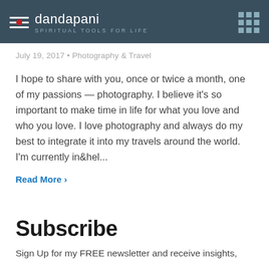dandapani — SPIRITUAL TOOLS FOR LIFE
July 19, 2017 • Photography & Travel
I hope to share with you, once or twice a month, one of my passions — photography. I believe it's so important to make time in life for what you love and who you love. I love photography and always do my best to integrate it into my travels around the world. I'm currently in&hel...
Read More >
Subscribe
Sign Up for my FREE newsletter and receive insights,